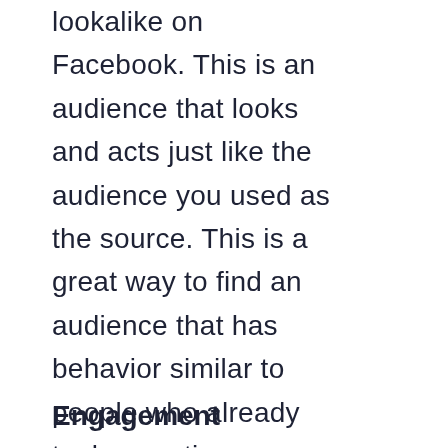lookalike on Facebook. This is an audience that looks and acts just like the audience you used as the source. This is a great way to find an audience that has behavior similar to people who already took an action you like.
Engagement